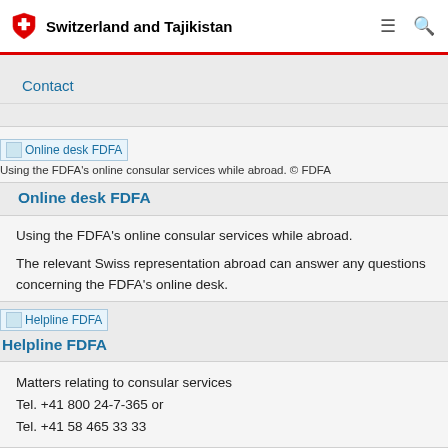Switzerland and Tajikistan
Contact
[Figure (screenshot): Broken image placeholder labeled 'Online desk FDFA']
Using the FDFA's online consular services while abroad. © FDFA
Online desk FDFA
Using the FDFA's online consular services while abroad.
The relevant Swiss representation abroad can answer any questions concerning the FDFA's online desk.
[Figure (screenshot): Broken image placeholder labeled 'Helpline FDFA']
Helpline FDFA
Matters relating to consular services
Tel. +41 800 24-7-365 or
Tel. +41 58 465 33 33